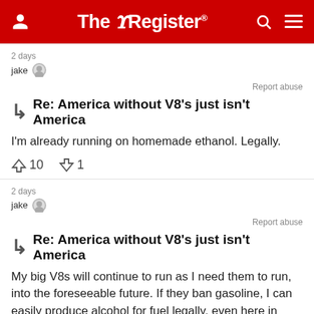The Register
2 days
jake
Report abuse
Re: America without V8's just isn't America
I'm already running on homemade ethanol. Legally.
10  1
2 days
jake
Report abuse
Re: America without V8's just isn't America
My big V8s will continue to run as I need them to run, into the foreseeable future. If they ban gasoline, I can easily produce alcohol for fuel legally, even here in California ... Note that the big motors run better on